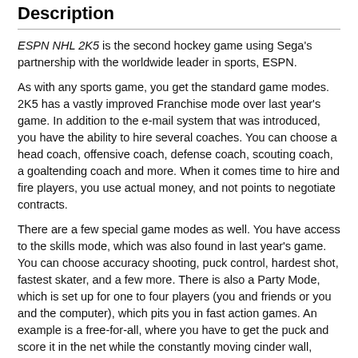Description
ESPN NHL 2K5 is the second hockey game using Sega's partnership with the worldwide leader in sports, ESPN.
As with any sports game, you get the standard game modes. 2K5 has a vastly improved Franchise mode over last year's game. In addition to the e-mail system that was introduced, you have the ability to hire several coaches. You can choose a head coach, offensive coach, defense coach, scouting coach, a goaltending coach and more. When it comes time to hire and fire players, you use actual money, and not points to negotiate contracts.
There are a few special game modes as well. You have access to the skills mode, which was also found in last year's game. You can choose accuracy shooting, puck control, hardest shot, fastest skater, and a few more. There is also a Party Mode, which is set up for one to four players (you and friends or you and the computer), which pits you in fast action games. An example is a free-for-all, where you have to get the puck and score it in the net while the constantly moving cinder wall, which blocks the net, is down.
Like last year's game, 2K5 features multiplayer hockey over Xbox Live (Xbox) and PlayStation 2's network service. You can jump into a game, or create or join a league of friends and foes.
The Skybox is back, and it's been slightly improved. Like in ESPN NFL 2K5, you earn points by completing tasks, such as scoring five goals in a single period, winning ten faceoffs, etc. You then use these points to purchase